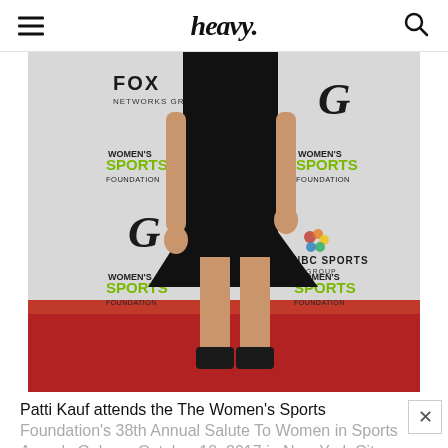heavy.
[Figure (photo): A woman in a black dress standing on a red carpet in front of a step-and-repeat banner featuring logos for Fox Networks Group, Women's Sports Foundation, Gatorade, and NBC Sports Group.]
Patti Kauf attends the The Women's Sports Foundation's 38th Annual Salute To Women in Sports Awards Gala on October 18, 2017 in New York City.